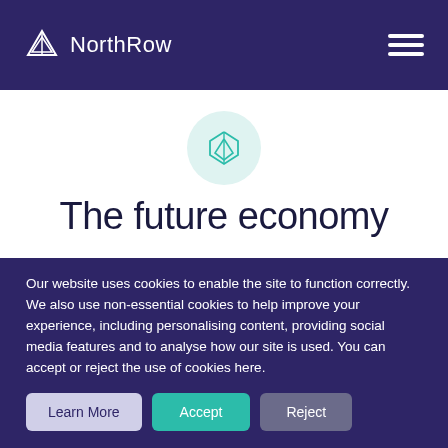NorthRow
[Figure (logo): NorthRow logo icon — geometric diamond/mountain shape in teal outline inside a light teal circle, centered on white background]
The future economy
Our website uses cookies to enable the site to function correctly. We also use non-essential cookies to help improve your experience, including personalising content, providing social media features and to analyse how our site is used. You can accept or reject the use of cookies here.
Learn More | Accept | Reject